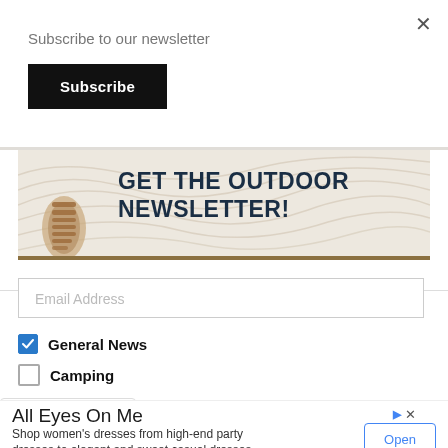×
Subscribe to our newsletter
Subscribe
[Figure (illustration): Newsletter signup banner with beige/tan background, topographic contour line pattern, boot print illustration on left, bold text reading GET THE OUTDOOR NEWSLETTER!]
Email Address
General News (checked checkbox)
Camping (unchecked checkbox)
Hiking (dropdown with chevron)
All Eyes On Me
Shop women's dresses from high-end party dresses to elegant and sweet casual dresses Bella Barnett
Open